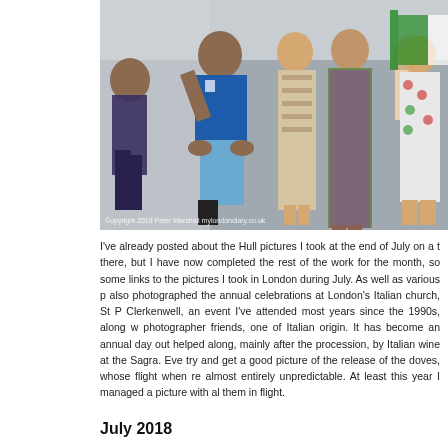[Figure (photo): Group of people dancing together outdoors at an Italian festival. Man in blue Italy football shirt, women in colorful dresses. Copyright 2018 Peter Marshall mylondondiary.co.uk watermark visible.]
I've already posted about the Hull pictures I took at the end of July on a trip there, but I have now completed the rest of the work for the month, so some links to the pictures I took in London during July. As well as various p also photographed the annual celebrations at London's Italian church, St P Clerkenwell, an event I've attended most years since the 1990s, along w photographer friends, one of Italian origin. It has become an annual day out helped along, mainly after the procession, by Italian wine at the Sagra. Eve try and get a good picture of the release of the doves, whose flight when re almost entirely unpredictable. At least this year I managed a picture with al them in flight.
July 2018